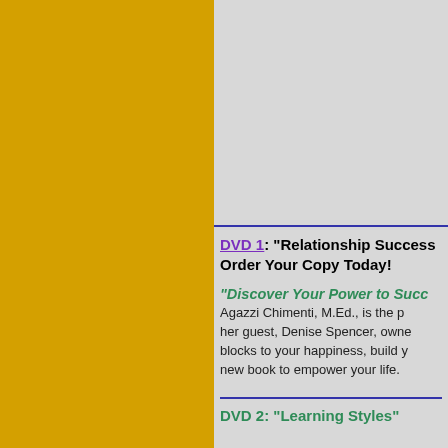[Figure (illustration): Gold/yellow colored left panel background]
DVD 1: "Relationship Success" Order Your Copy Today!
"Discover Your Power to Succeed" Agazzi Chimenti, M.Ed., is the p... her guest, Denise Spencer, owne... blocks to your happiness, build y... new book to empower your life.
DVD 2: "Learning Styles"